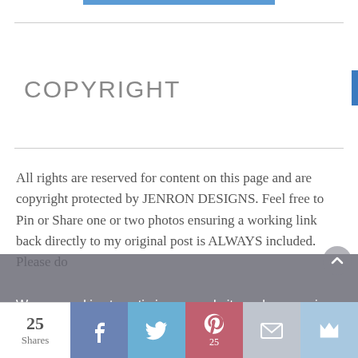COPYRIGHT
All rights are reserved for content on this page and are copyright protected by JENRON DESIGNS. Feel free to Pin or Share one or two photos ensuring a working link back directly to my original post is ALWAYS included. Please do
Cookies help us deliver our services. By using our services,
We use cookies to optimize our website and our services.
ACCEPT
Opt-our preferences   BLOG POLICIES
25 Shares